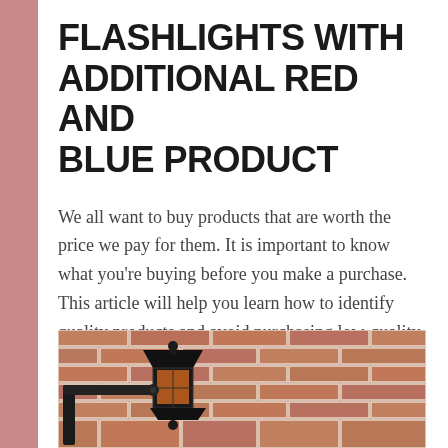FLASHLIGHTS WITH ADDITIONAL RED AND BLUE PRODUCT
We all want to buy products that are worth the price we pay for them. It is important to know what you're buying before you make a purchase. This article will help you learn how to identify quality products and avoid purchasing low-quality goods.
[Figure (photo): Outdoor lantern-style light fixture mounted on a brick wall, black metal lamp with decorative finials, background shows red brick wall texture.]